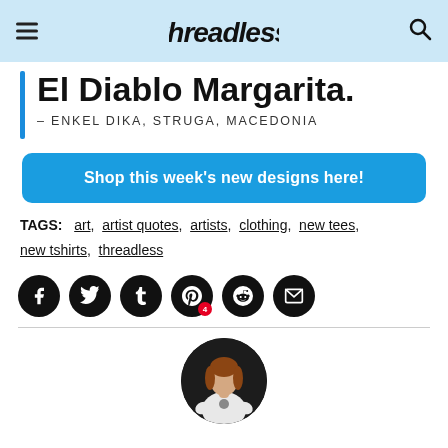Threadless — hamburger menu and search icon
El Diablo Margarita.
– ENKEL DIKA, STRUGA, MACEDONIA
Shop this week's new designs here!
TAGS: art, artist quotes, artists, clothing, new tees, new tshirts, threadless
[Figure (infographic): Social sharing icons: Facebook, Twitter, Tumblr, Pinterest (with badge 4), Reddit, Email — black circular buttons]
[Figure (photo): Circular avatar photo of a woman wearing a white t-shirt with a design, against a dark background]